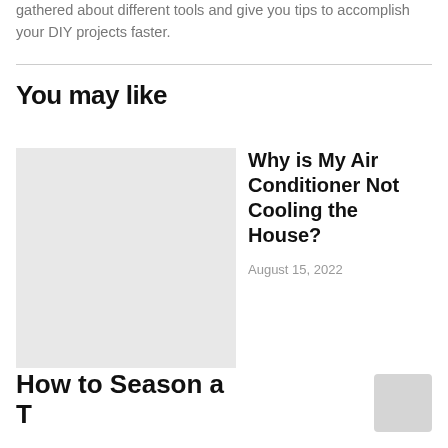gathered about different tools and give you tips to accomplish your DIY projects faster.
You may like
Why is My Air Conditioner Not Cooling the House?
August 15, 2022
How to Season a Traeger Grill